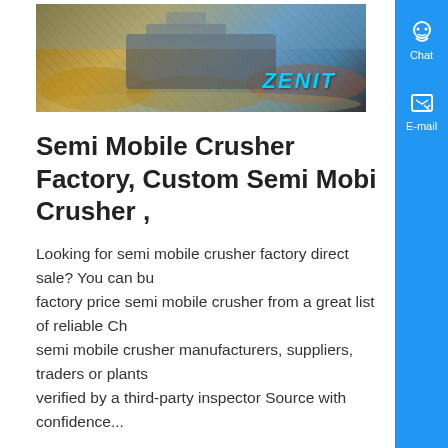[Figure (photo): Mining crusher machine outdoor scene with ZENIT branding logo]
Semi Mobile Crusher Factory, Custom Semi Mobile Crusher ,
Looking for semi mobile crusher factory direct sale? You can buy factory price semi mobile crusher from a great list of reliable Chinese semi mobile crusher manufacturers, suppliers, traders or plants verified by a third-party inspector Source with confidence...
Know More
[Figure (photo): Semi mobile jaw crusher industrial equipment on job site with ZENIT branding]
Semi Mobile Jaw Crusher